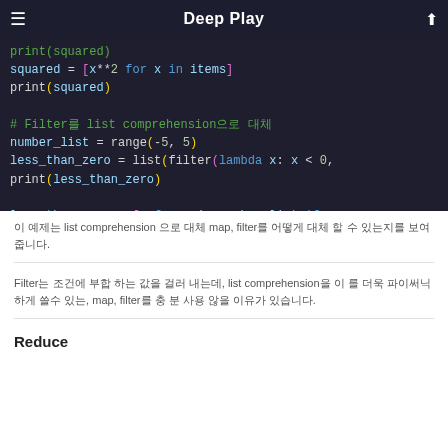Deep Play
[Figure (screenshot): Code block showing Python list comprehension and filter examples on dark background]
이 예제는 list comprehension 으로 대체 map, filter를 어떻게 대체 할 수 있는지를 보여줍니다.
Filter는 조건에 부합 하는 값을 걸러 내는데, list comprehension을 이 를 더욱 파이써닉하게 쓸수 있는, map, filter를 충 분 사용 않을 이유가 있습니다.
Reduce